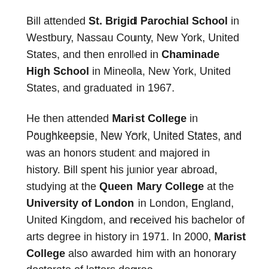Bill attended St. Brigid Parochial School in Westbury, Nassau County, New York, United States, and then enrolled in Chaminade High School in Mineola, New York, United States, and graduated in 1967.
He then attended Marist College in Poughkeepsie, New York, United States, and was an honors student and majored in history. Bill spent his junior year abroad, studying at the Queen Mary College at the University of London in London, England, United Kingdom, and received his bachelor of arts degree in history in 1971. In 2000, Marist College also awarded him with an honorary doctorate of letters degree.
In 1973, he returned to further pursue his education and attended Boston University in Boston, Massachusetts, United States, and earned a master of arts degree in broadcast journalism in 1975.